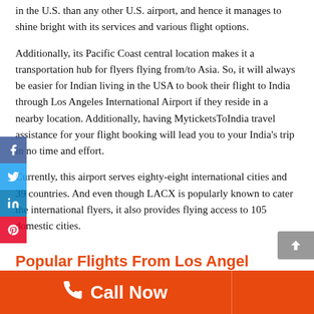in the U.S. than any other U.S. airport, and hence it manages to shine bright with its services and various flight options.
Additionally, its Pacific Coast central location makes it a transportation hub for flyers flying from/to Asia. So, it will always be easier for Indian living in the USA to book their flight to India through Los Angeles International Airport if they reside in a nearby location. Additionally, having MyticketsToIndia travel assistance for your flight booking will lead you to your India's trip in no time and effort.
Currently, this airport serves eighty-eight international cities and 39 countries. And even though LACX is popularly known to cater the international flyers, it also provides flying access to 105 domestic cities.
Popular Flights From Los Angel...